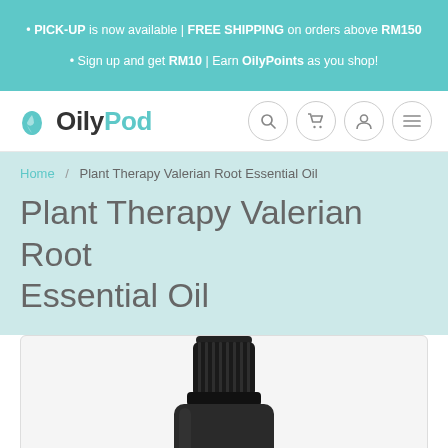PICK-UP is now available | FREE SHIPPING on orders above RM150 • Sign up and get RM10 | Earn OilyPoints as you shop!
[Figure (logo): OilyPod logo with teal droplet/leaf icon]
Home / Plant Therapy Valerian Root Essential Oil
Plant Therapy Valerian Root Essential Oil
[Figure (photo): Dark amber/black glass essential oil bottle with black ribbed cap, partially visible]